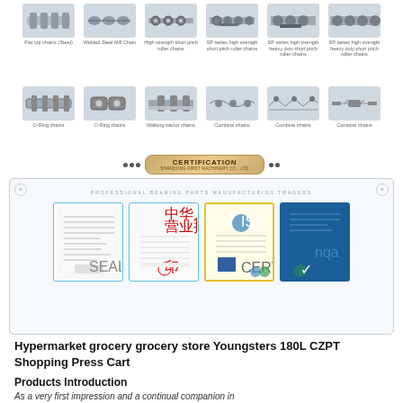[Figure (photo): Grid of industrial chain product images with labels: Flat top chains (Steel), Welded Steel Mill Chain, High strength short pitch roller chains, SP series high strength short pitch roller chains, SP series high strength heavy duty short pitch roller chains, SP series high strength heavy duty short pitch roller chains, O-Ring chains, O-Ring chains, Walking tractor chains, Combine chains, Combine chains, Combine chains]
[Figure (photo): Certification section showing company certifications including a Chinese business license, a quality certificate with red stamp, an ISO certificate on yellow background, and an NQA certificate on blue background. Header reads PROFESSIONAL BEARING PARTS MANUFACTURING TRADERS]
Hypermarket grocery grocery store Youngsters 180L CZPT Shopping Press Cart
Products Introduction
As a very first impression and a continual companion in the store, CZPT shopping carts tell everyone that t